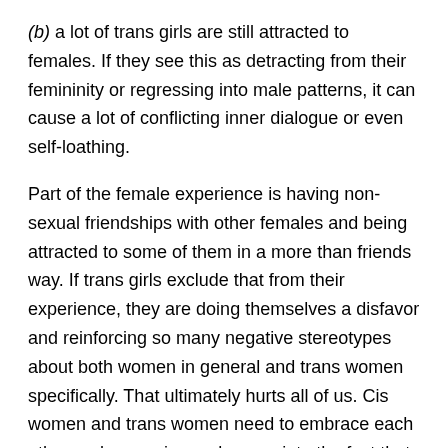(b) a lot of trans girls are still attracted to females. If they see this as detracting from their femininity or regressing into male patterns, it can cause a lot of conflicting inner dialogue or even self-loathing.
Part of the female experience is having non-sexual friendships with other females and being attracted to some of them in a more than friends way. If trans girls exclude that from their experience, they are doing themselves a disfavor and reinforcing so many negative stereotypes about both women in general and trans women specifically. That ultimately hurts all of us. Cis women and trans women need to embrace each other and recognize and appreciate the fact that both of their experiences, though different, are both completely valid types of the female experience. I have struggled with this personally because I FUCKEN LOVE PUSSY!